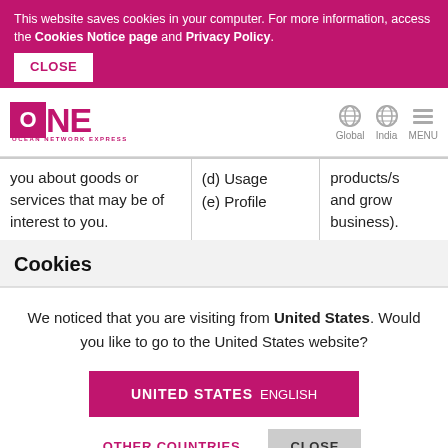This website saves cookies in your computer. For more information, access the Cookies Notice page and Privacy Policy.
CLOSE
[Figure (logo): ONE Ocean Network Express logo in magenta/pink color]
Global
India
MENU
| you about goods or services that may be of interest to you. | (d) Usage
(e) Profile | products/s and grow business). |
Cookies
We noticed that you are visiting from United States. Would you like to go to the United States website?
UNITED STATES  ENGLISH
OTHER COUNTRIES
CLOSE